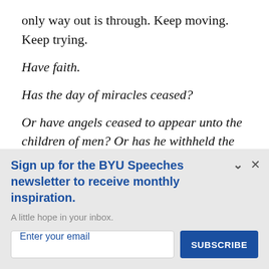only way out is through. Keep moving. Keep trying.
Have faith.
Has the day of miracles ceased?
Or have angels ceased to appear unto the children of men? Or has he withheld the power of the Holy
Sign up for the BYU Speeches newsletter to receive monthly inspiration.
A little hope in your inbox.
Enter your email
SUBSCRIBE